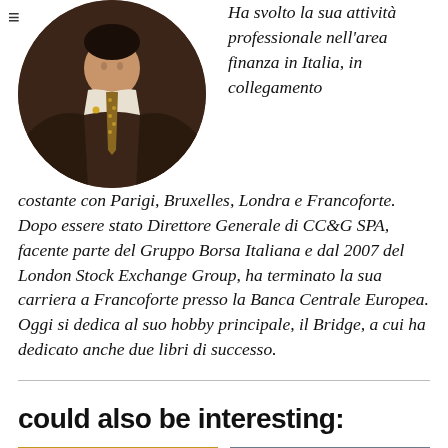[Figure (photo): Circular portrait photo of a man in a dark suit with a patterned tie and lapel pin]
Ha svolto la sua attività professionale nell'area finanza in Italia, in collegamento costante con Parigi, Bruxelles, Londra e Francoforte. Dopo essere stato Direttore Generale di CC&G SPA, facente parte del Gruppo Borsa Italiana e dal 2007 del London Stock Exchange Group, ha terminato la sua carriera a Francoforte presso la Banca Centrale Europea. Oggi si dedica al suo hobby principale, il Bridge, a cui ha dedicato anche due libri di successo.
could also be interesting:
[Figure (photo): Thumbnail image with yellow/gold background, partially visible]
[Figure (photo): Thumbnail image with grey/blue background, partially visible]